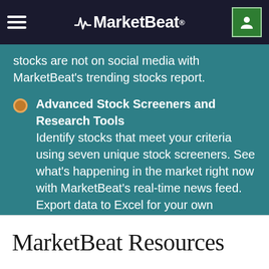MarketBeat
stocks are not on social media with MarketBeat's trending stocks report.
Advanced Stock Screeners and Research Tools
Identify stocks that meet your criteria using seven unique stock screeners. See what's happening in the market right now with MarketBeat's real-time news feed. Export data to Excel for your own analysis.
START YOUR RISK-FREE TRIAL SUBSCRIPTION HERE >
MarketBeat Resources